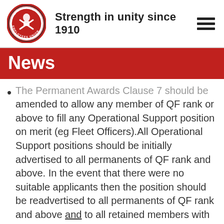Strength in unity since 1910
News
The Permanent Awards Clause 7 should be amended to allow any member of QF rank or above to fill any Operational Support position on merit (eg Fleet Officers).All Operational Support positions should be initially advertised to all permanents of QF rank and above. In the event that there were no suitable applicants then the position should be readvertised to all permanents of QF rank and above and to all retained members with 8 or more years service, this being consistent with the 24 month service/QF requirement for permanents and the recently negotiated 25% service recognition of former